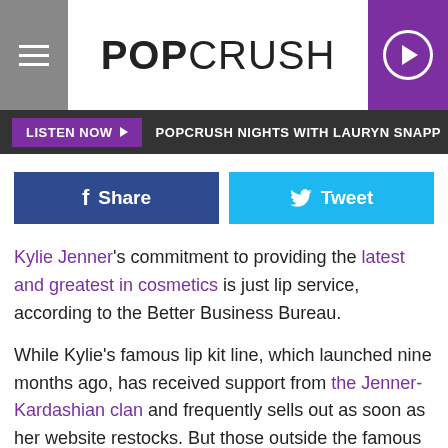POPCRUSH
LISTEN NOW ▶  POPCRUSH NIGHTS WITH LAURYN SNAPP
f Share   Tweet
Kylie Jenner's commitment to providing the latest and greatest in cosmetics is just lip service, according to the Better Business Bureau.
While Kylie's famous lip kit line, which launched nine months ago, has received support from the Jenner-Kardashian clan and frequently sells out as soon as her website restocks. But those outside the famous family circle are less than satisfied, according to TMZ. The site reports the BBB has given Kylie's company an F after receiving nearly 150 complaints that include pieces missing in orders, delivery